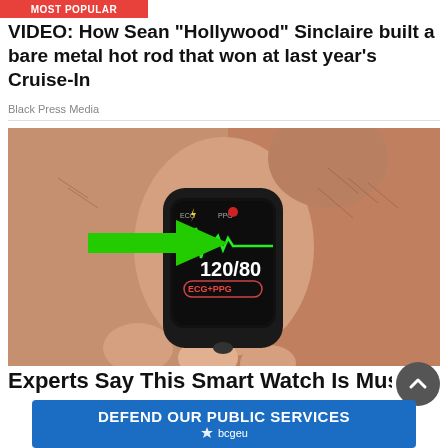MOST POPULAR
VIDEO: How Sean “Hollywood” Sinclaire built a bare metal hot rod that won at last year’s Cruise-In
Black Press Media
[Figure (photo): Close-up photo of hands holding a smartwatch/fitness band showing an ECG+PPG sensor reading with a green arrow pointing to the device screen displaying 120/80 and ECG+PPG text, with a green heartbeat waveform graph on screen]
Experts Say This Smart Watch Is Must F—
[Figure (other): BCGEU advertisement banner with text DEFEND OUR PUBLIC SERVICES and bcgeu logo]